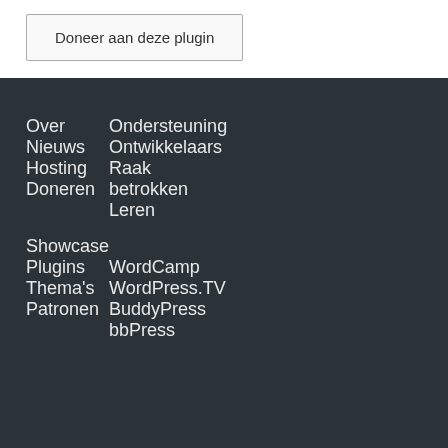Doneer aan deze plugin
Over
Nieuws
Hosting
Doneren
Ondersteuning
Ontwikkelaars
Raak betrokken
Leren
Showcase
Plugins
Thema's
Patronen
WordCamp
WordPress.TV
BuddyPress
bbPress